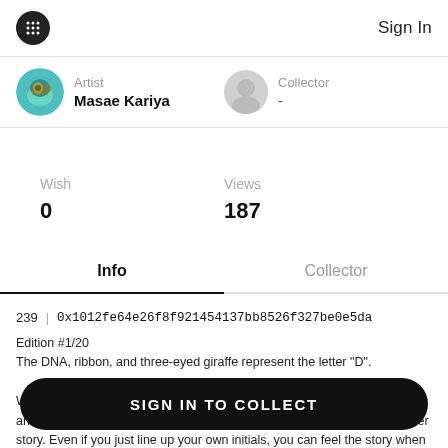Sign In
Artist
Masae Kariya
Collector
-
Wish
0
Views
187
Info
Collector
239  |  0x1012fe64e26f8f921454137bb8526f327be0e5da
Edition #1/20
The DNA, ribbon, and three-eyed giraffe represent the letter "D".

Wonderalphabet : The shape of the alphabet gives the image of various animals and objects. If you line them up from A to Z, you can see a wonder story. Even if you just line up your own initials, you can feel the story when you put them togeth
SIGN IN TO COLLECT